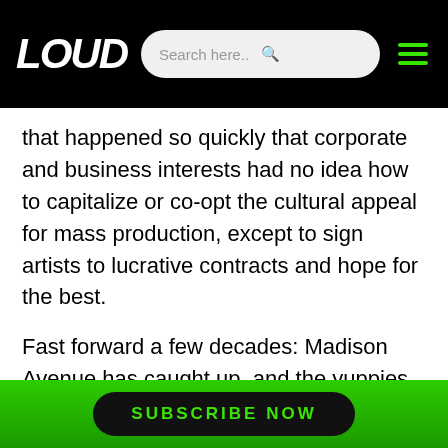LOUD
that happened so quickly that corporate and business interests had no idea how to capitalize or co-opt the cultural appeal for mass production, except to sign artists to lucrative contracts and hope for the best.
Fast forward a few decades: Madison Avenue has caught up, and the yuppies developed a clever program of “coolhunting” and prefabrication of art and music for the intention of mass production. After the corporations hijacked the music labels, the art festivals, and the television and radio waves, all seemed lost
SUBSCRIBE NOW